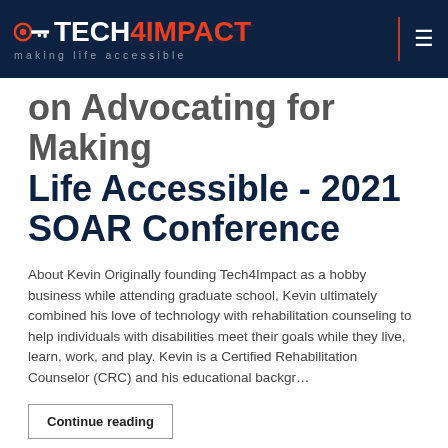Tech4Impact - making life accessible
on Advocating for Making Life Accessible - 2021 SOAR Conference
About Kevin Originally founding Tech4Impact as a hobby business while attending graduate school, Kevin ultimately combined his love of technology with rehabilitation counseling to help individuals with disabilities meet their goals while they live, learn, work, and play. Kevin is a Certified Rehabilitation Counselor (CRC) and his educational backgr...
Continue reading
Saturday, 18 September 2021